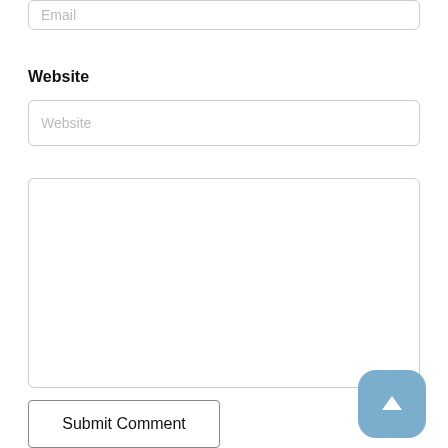Email
Website
Website
Submit Comment